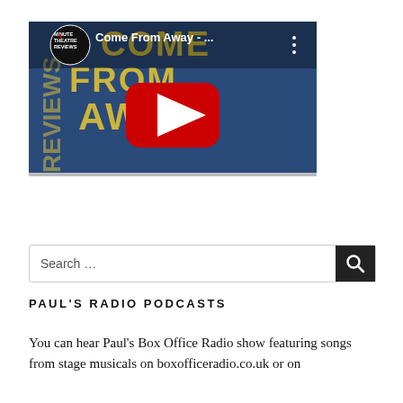[Figure (screenshot): YouTube video thumbnail showing 'Come From Away - ...' with Minute Theatre Reviews logo on left, play button in center, three-dot menu icon on right, blue and yellow theatrical text background]
Search ...
PAUL'S RADIO PODCASTS
You can hear Paul's Box Office Radio show featuring songs from stage musicals on boxofficeradio.co.uk or on